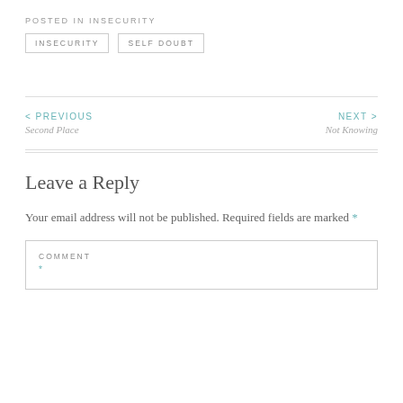POSTED IN INSECURITY
INSECURITY   SELF DOUBT
< PREVIOUS
Second Place
NEXT >
Not Knowing
Leave a Reply
Your email address will not be published. Required fields are marked *
COMMENT
*